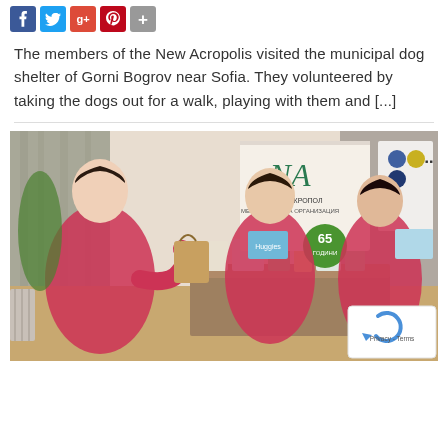[Figure (other): Social media sharing buttons row: Facebook (blue), Twitter (light blue), Google (red), Pinterest (dark red), Plus (grey)]
The members of the New Acropolis visited the municipal dog shelter of Gorni Bogrov near Sofia. They volunteered by taking the dogs out for a walk, playing with them and [...]
[Figure (photo): Indoor photo of three women in red vests sorting and handling donated supplies (food, hygiene products, boxes) on a table. A New Acropolis banner and a '65 ГОДИНИ' (65 years) sign are visible in the background. A reCAPTCHA badge appears in the bottom-right corner.]